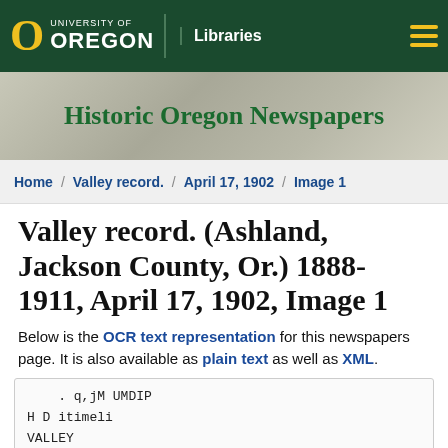[Figure (logo): University of Oregon Libraries logo with green nav bar and hamburger menu icon]
[Figure (illustration): Historic Oregon Newspapers banner with faded map background]
Home / Valley record. / April 17, 1902 / Image 1
Valley record. (Ashland, Jackson County, Or.) 1888-1911, April 17, 1902, Image 1
Below is the OCR text representation for this newspapers page. It is also available as plain text as well as XML.
. q,jM UMDIP
H D itimeli
VALLEY
VALLEY
....... ASHLAND OREGON